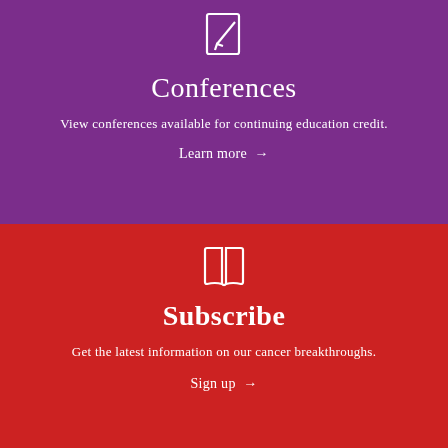[Figure (illustration): White outline icon of a document/notepad with a pencil, on purple background]
Conferences
View conferences available for continuing education credit.
Learn more →
[Figure (illustration): White outline icon of an open book, on red background]
Subscribe
Get the latest information on our cancer breakthroughs.
Sign up →